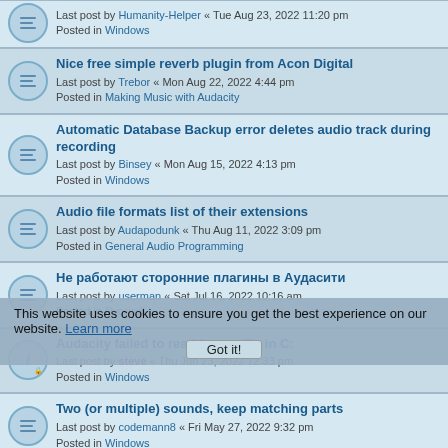Nice free simple reverb plugin from Acon Digital
Last post by Trebor « Mon Aug 22, 2022 4:44 pm
Posted in Making Music with Audacity
Automatic Database Backup error deletes audio track during recording
Last post by Binsey « Mon Aug 15, 2022 4:13 pm
Posted in Windows
Audio file formats list of their extensions
Last post by Audapodunk « Thu Aug 11, 2022 3:09 pm
Posted in General Audio Programming
Не работают сторонние плагины в Аудасити
Last post by userman « Sat Jul 16, 2022 10:16 am
Posted in Русский
Audacity failed to read from a file in C:
Last post by steve « Thu Jun 23, 2022 12:33 pm
Posted in Windows
Two (or multiple) sounds, keep matching parts
Last post by codemann8 « Fri May 27, 2022 9:32 pm
Posted in Windows
Diehard theme (for desktop integration in AVL-MXE)
Last post by mischamajskij « Sun May 22, 2022 11:53 am
Posted in Audacity Artwork and Graphics
None of my aup files will open
Last post by lmichie63@gmail.com « Sat May 21, 2022 9:03 pm